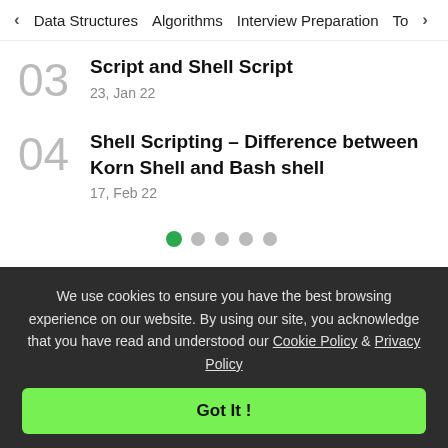< Data Structures   Algorithms   Interview Preparation   To>
03 Script and Shell Script
23, Jan 22
04 Shell Scripting – Difference between Korn Shell and Bash shell
17, Feb 22
[Figure (other): Pagination dots: 6 dots with first dot active (green)]
We use cookies to ensure you have the best browsing experience on our website. By using our site, you acknowledge that you have read and understood our Cookie Policy & Privacy Policy
Got It !